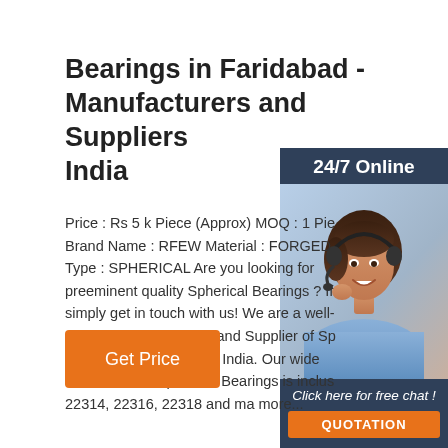Bearings in Faridabad - Manufacturers and Suppliers India
Price : Rs 5 k Piece (Approx) MOQ : 1 Pie Brand Name : RFEW Material : FORGED Type : SPHERICAL Are you looking for preeminent quality Spherical Bearings ? If simply get in touch with us! We are a well- Manufacturer, Exporter and Supplier of Sp Bearings from Haryana, India. Our wide assortment of Spherical Bearings is inclus 22314, 22316, 22318 and ma more...
[Figure (photo): Woman with headset smiling, customer service representative, with '24/7 Online' header and 'Click here for free chat!' text and orange QUOTATION button]
Get Price